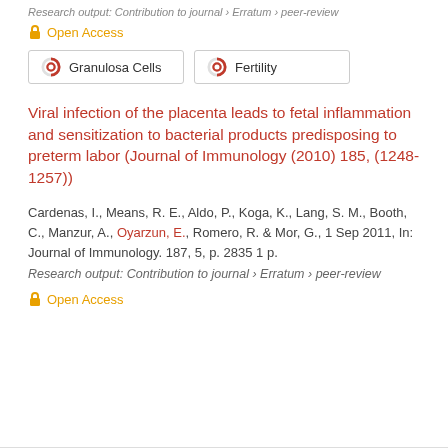Research output: Contribution to journal › Erratum › peer-review
Open Access
Granulosa Cells | Fertility
Viral infection of the placenta leads to fetal inflammation and sensitization to bacterial products predisposing to preterm labor (Journal of Immunology (2010) 185, (1248-1257))
Cardenas, I., Means, R. E., Aldo, P., Koga, K., Lang, S. M., Booth, C., Manzur, A., Oyarzun, E., Romero, R. & Mor, G., 1 Sep 2011, In: Journal of Immunology. 187, 5, p. 2835 1 p.
Research output: Contribution to journal › Erratum › peer-review
Open Access